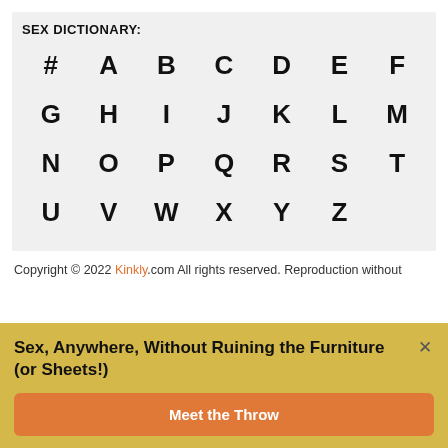SEX DICTIONARY:
# A B C D E F G H I J K L M N O P Q R S T U V W X Y Z
Copyright © 2022 Kinkly.com All rights reserved. Reproduction without
Sex, Anywhere, Without Ruining the Furniture (or Sheets!)
Meet the Throw